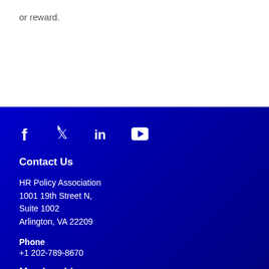or reward.
[Figure (infographic): Social media icons: Facebook, Twitter, LinkedIn, YouTube — white icons on dark blue background]
Contact Us
HR Policy Association
1001 19th Street N,
Suite 1002
Arlington, VA 22209
Phone
+1 202-789-8670
Membership